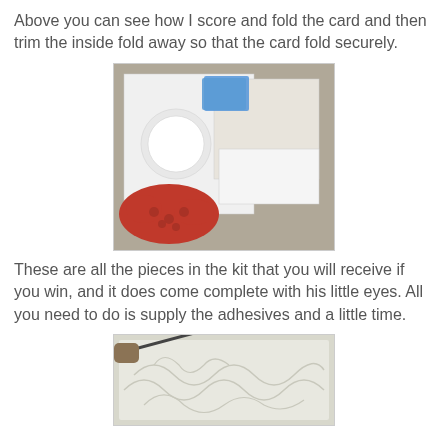Above you can see how I score and fold the card and then trim the inside fold away so that the card fold securely.
[Figure (photo): Craft card pieces laid out on a table including white cut paper with decorative crab shape and other card components.]
These are all the pieces in the kit that you will receive if you win, and it does come complete with his little eyes. All you need to do is supply the adhesives and a little time.
[Figure (photo): Close-up of a tool working on white embossed decorative paper with floral patterns.]